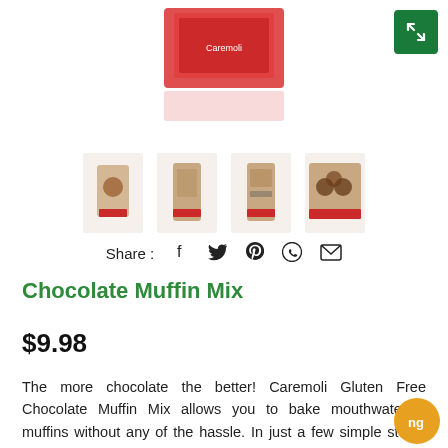[Figure (photo): Product photo of Caremoli Chocolate Muffin Mix box, partially visible at top of page]
[Figure (photo): Four thumbnail images of the Caremoli Chocolate Muffin Mix product from different angles]
Share :
Chocolate Muffin Mix
$9.98
The more chocolate the better! Caremoli Gluten Free Chocolate Muffin Mix allows you to bake mouthwatering muffins without any of the hassle. In just a few simple steps, they'll be ready to enjoy. With its carefully selected